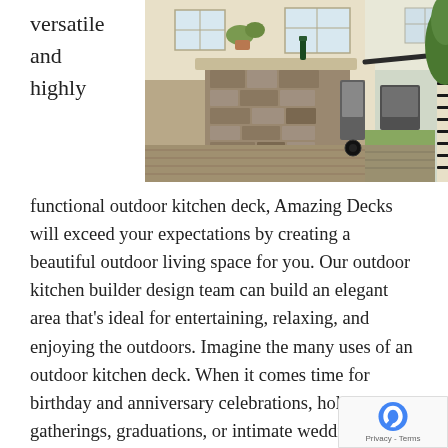versatile and highly
[Figure (photo): Outdoor kitchen deck with stone bar counter, deck flooring, railing, plants, and a grill area. Two photos side by side showing different angles of the outdoor kitchen.]
functional outdoor kitchen deck, Amazing Decks will exceed your expectations by creating a beautiful outdoor living space for you. Our outdoor kitchen builder design team can build an elegant area that’s ideal for entertaining, relaxing, and enjoying the outdoors. Imagine the many uses of an outdoor kitchen deck. When it comes time for birthday and anniversary celebrations, holiday gatherings, graduations, or intimate wedding receptions, a beautiful outdoor kitchen design that includes an excellent cooking system is the ideal way to go.